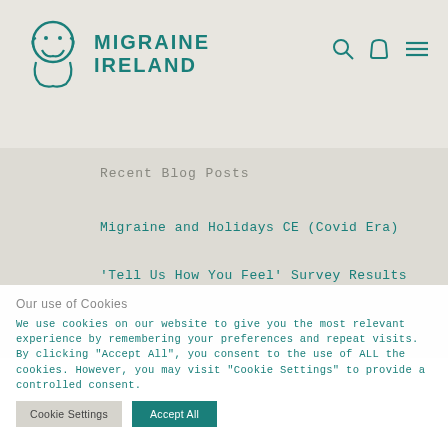[Figure (logo): Migraine Ireland logo with teal stylized figure icon and bold teal text reading MIGRAINE IRELAND]
Recent Blog Posts
Migraine and Holidays CE (Covid Era)
'Tell Us How You Feel' Survey Results
Our use of Cookies
We use cookies on our website to give you the most relevant experience by remembering your preferences and repeat visits. By clicking "Accept All", you consent to the use of ALL the cookies. However, you may visit "Cookie Settings" to provide a controlled consent.
Cookie Settings | Accept All